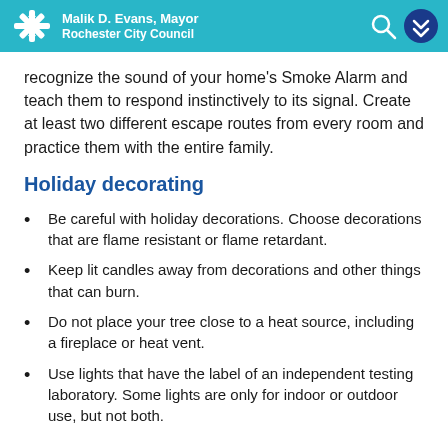Malik D. Evans, Mayor
Rochester City Council
recognize the sound of your home's Smoke Alarm and teach them to respond instinctively to its signal. Create at least two different escape routes from every room and practice them with the entire family.
Holiday decorating
Be careful with holiday decorations. Choose decorations that are flame resistant or flame retardant.
Keep lit candles away from decorations and other things that can burn.
Do not place your tree close to a heat source, including a fireplace or heat vent.
Use lights that have the label of an independent testing laboratory. Some lights are only for indoor or outdoor use, but not both.